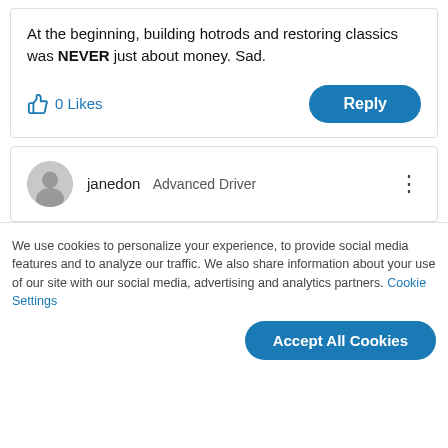At the beginning, building hotrods and restoring classics was NEVER just about money. Sad.
0 Likes
Reply
janedon  Advanced Driver
We use cookies to personalize your experience, to provide social media features and to analyze our traffic. We also share information about your use of our site with our social media, advertising and analytics partners. Cookie Settings
Accept All Cookies